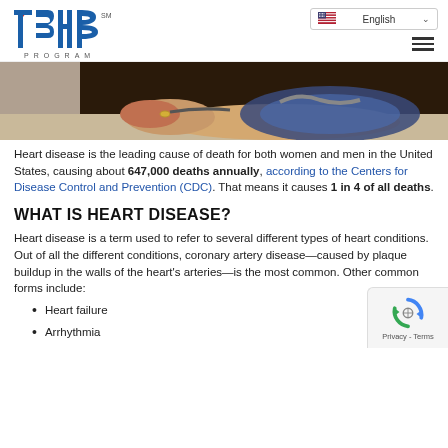[Figure (logo): TSHB Program logo in blue with red accent, SM trademark]
[Figure (photo): Healthcare provider taking blood pressure measurement on a patient's arm with a blood pressure cuff]
Heart disease is the leading cause of death for both women and men in the United States, causing about 647,000 deaths annually, according to the Centers for Disease Control and Prevention (CDC). That means it causes 1 in 4 of all deaths.
WHAT IS HEART DISEASE?
Heart disease is a term used to refer to several different types of heart conditions. Out of all the different conditions, coronary artery disease—caused by plaque buildup in the walls of the heart's arteries—is the most common. Other common forms include:
Heart failure
Arrhythmia